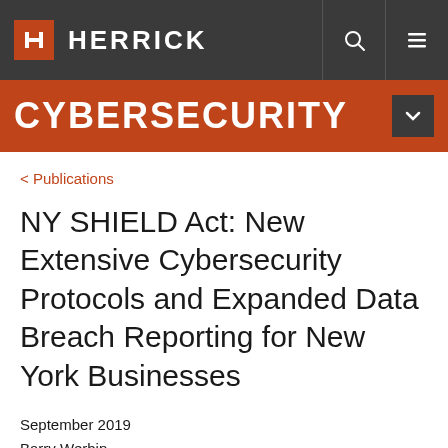HERRICK
CYBERSECURITY
< Publications
NY SHIELD Act: New Extensive Cybersecurity Protocols and Expanded Data Breach Reporting for New York Businesses
September 2019
Barry Werbin